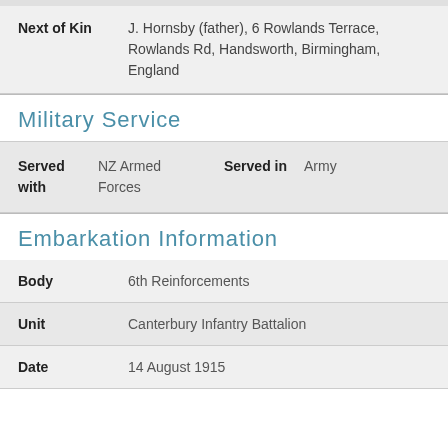| Field | Value |
| --- | --- |
| Next of Kin | J. Hornsby (father), 6 Rowlands Terrace, Rowlands Rd, Handsworth, Birmingham, England |
Military Service
| Served with | Value | Served in | Value |
| --- | --- | --- | --- |
| Served with | NZ Armed Forces | Served in | Army |
Embarkation Information
| Field | Value |
| --- | --- |
| Body | 6th Reinforcements |
| Unit | Canterbury Infantry Battalion |
| Date | 14 August 1915 |